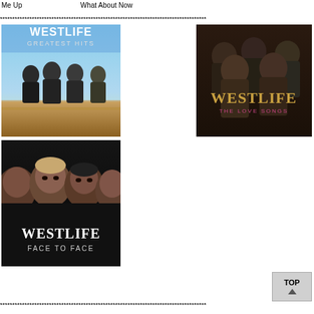Me Up　　　　　　　　　　　　　　　　　What About Now
************************************************************************************
[Figure (photo): Westlife Greatest Hits album cover — four men standing at a railing against a blue sky, with 'WESTLIFE GREATEST HITS' text overlay]
[Figure (photo): Westlife The Love Songs album cover — five men in dark clothes seated/standing together in dark lighting, with 'WESTLIFE THE LOVE SONGS' text overlay]
[Figure (photo): Westlife Face to Face album cover — four men's faces close up in dark styling, with 'WESTLIFE FACE TO FACE' text overlay]
************************************************************************************